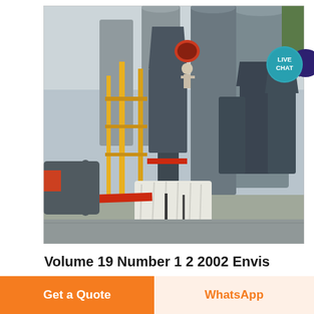[Figure (photo): Industrial plant photo showing large grey dust collector/cyclone units and storage silos with a worker on top of equipment, yellow structural supports, and white fabric-covered equipment base in foreground, taken at an outdoor industrial facility.]
Volume 19 Number 1 2 2002 Envis
Get a Quote
WhatsApp